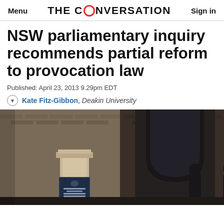Menu | THE CONVERSATION | Sign in
NSW parliamentary inquiry recommends partial reform to provocation law
Published: April 23, 2013 9.29pm EDT
Kate Fitz-Gibbon, Deakin University
[Figure (photo): Exterior of the Supreme Court of New South Wales building, showing brick facade with arched doorway and a sign reading 'SUPREME COURT OF NEW SOUTH WALES'. A person in dark clothing is visible near the entrance.]